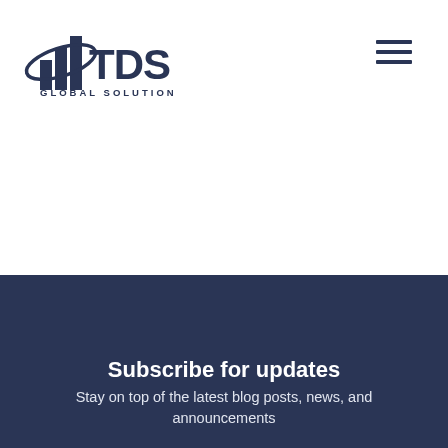[Figure (logo): TDS Global Solutions logo — stylized bar chart with orbit ring icon and text 'TDS GLOBAL SOLUTIONS']
[Figure (other): Hamburger menu icon (three horizontal lines)]
Subscribe for updates
Stay on top of the latest blog posts, news, and announcements